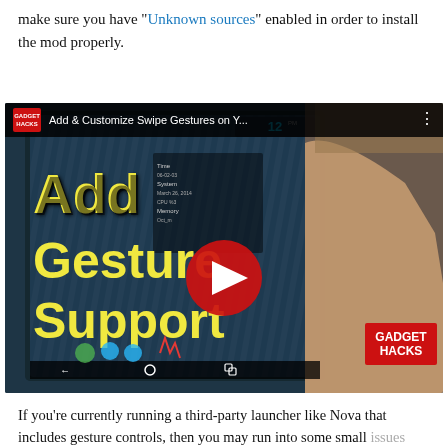make sure you have "Unknown sources" enabled in order to install the mod properly.
[Figure (screenshot): YouTube video thumbnail for 'Add & Customize Swipe Gestures on Y...' by Gadget Hacks, showing a hand touching an Android tablet screen with text 'Add Gesture Support' overlaid in yellow bold font, a red YouTube play button in the center, and a Gadget Hacks logo badge in the bottom right.]
If you're currently running a third-party launcher like Nova that includes gesture controls, then you may run into some small issues when performing these new gestures (they can conflict with existing ones). If you're running a stock launcher, like the Google Now Launcher, then you will definitely benefit from this